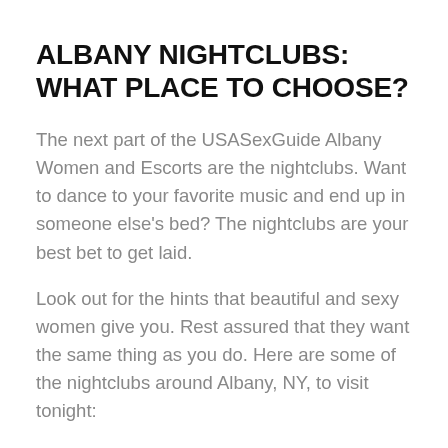ALBANY NIGHTCLUBS: WHAT PLACE TO CHOOSE?
The next part of the USASexGuide Albany Women and Escorts are the nightclubs. Want to dance to your favorite music and end up in someone else’s bed? The nightclubs are your best bet to get laid.
Look out for the hints that beautiful and sexy women give you. Rest assured that they want the same thing as you do. Here are some of the nightclubs around Albany, NY, to visit tonight:
North Albany: 10 Tubman Cir
The Upper Room: 59 N Pearl Street